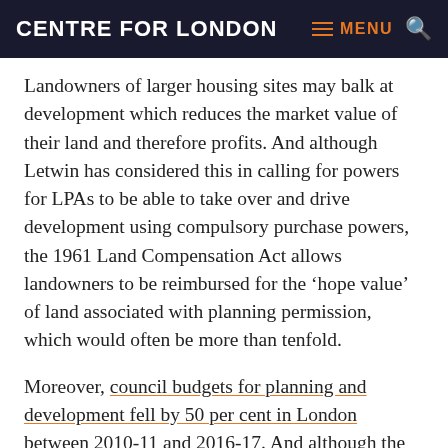CENTRE FOR LONDON
Landowners of larger housing sites may balk at development which reduces the market value of their land and therefore profits. And although Letwin has considered this in calling for powers for LPAs to be able to take over and drive development using compulsory purchase powers, the 1961 Land Compensation Act allows landowners to be reimbursed for the ‘hope value’ of land associated with planning permission, which would often be more than tenfold.
Moreover, council budgets for planning and development fell by 50 per cent in London between 2010-11 and 2016-17. And although the Mayor has recently announced a £10 million Homebuilding Capacity Fund, LPAs requiring more capacity and